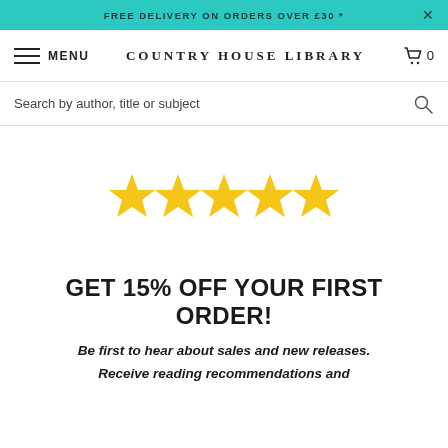FREE DELIVERY ON ORDERS OVER £30 *
COUNTRY HOUSE LIBRARY
Search by author, title or subject
[Figure (other): Five gold star rating icons displayed in a row]
GET 15% OFF YOUR FIRST ORDER!
Be first to hear about sales and new releases. Receive reading recommendations and